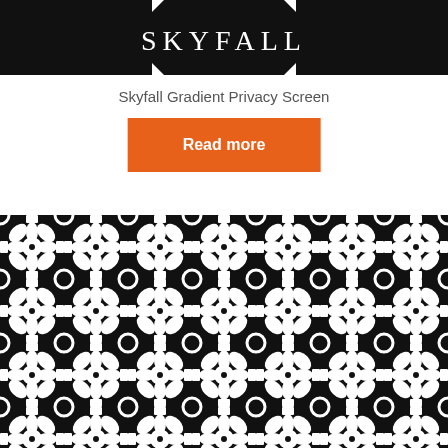[Figure (photo): Black panel with the word SKYFALL in white serif letters, partially visible at top with decorative corner arrows]
Skyfall Gradient Privacy Screen
Read more
[Figure (photo): Black decorative laser-cut privacy screen panel with repeating geometric pattern of interlocking circles, stars and diamond shapes]